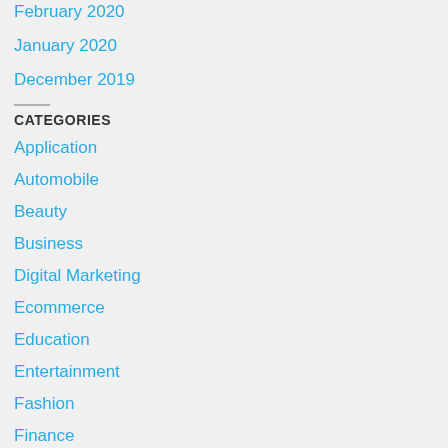February 2020
January 2020
December 2019
CATEGORIES
Application
Automobile
Beauty
Business
Digital Marketing
Ecommerce
Education
Entertainment
Fashion
Finance